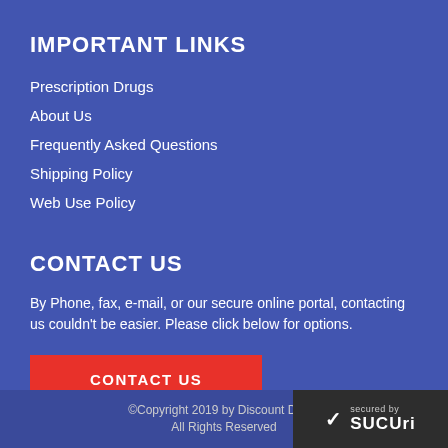IMPORTANT LINKS
Prescription Drugs
About Us
Frequently Asked Questions
Shipping Policy
Web Use Policy
CONTACT US
By Phone, fax, e-mail, or our secure online portal, contacting us couldn't be easier. Please click below for options.
CONTACT US
©Copyright 2019 by Discount Drugs All Rights Reserved